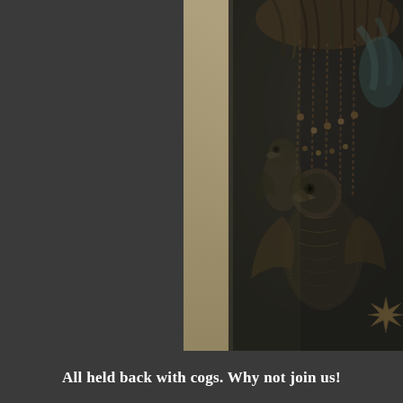[Figure (photo): Close-up photograph of an ornate decorative artwork or craft piece featuring textured metallic elements, bird figures (possibly eagles or ravens), intricate beadwork or feather-like structures in dark bronze and teal tones, with cursive script visible on a lighter background strip on the left side of the artwork. The piece appears to be a mixed-media assemblage with steampunk or Victorian aesthetic.]
All held back with cogs. Why not join us!